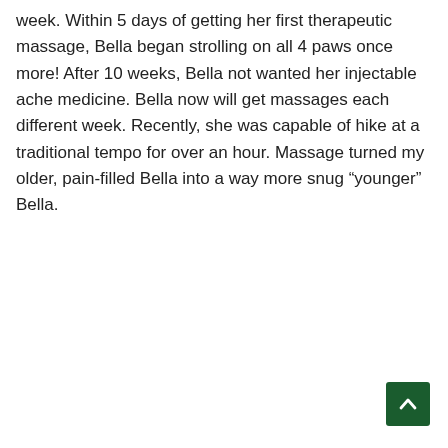week. Within 5 days of getting her first therapeutic massage, Bella began strolling on all 4 paws once more! After 10 weeks, Bella not wanted her injectable ache medicine. Bella now will get massages each different week. Recently, she was capable of hike at a traditional tempo for over an hour. Massage turned my older, pain-filled Bella into a way more snug “younger” Bella.
[Figure (other): A dark green square button with a white upward-pointing chevron/arrow, used as a back-to-top navigation button.]